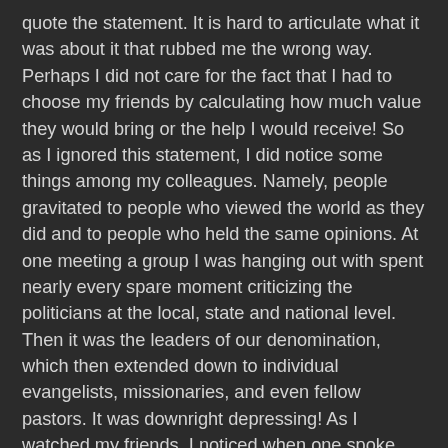quote the statement. It is hard to articulate what it was about it that rubbed me the wrong way. Perhaps I did not care for the fact that I had to choose my friends by calculating how much value they would bring or the help I would receive! So as I ignored this statement, I did notice some things among my colleagues. Namely, people gravitated to people who viewed the world as they did and to people who held the same opinions. At one meeting a group I was hanging out with spent nearly every spare moment criticizing the politicians at the local, state and national level. Then it was the leaders of our denomination, which then extended down to individual evangelists, missionaries, and even fellow pastors. It was downright depressing! As I watched my friends, I noticed when one spoke against a particular person they all nodded agreement. Not one positive thing was said, and nothing of any value or substance came from the conversation. Allow me to highlight a couple of observations: Proverbs 4:23 made sense after this encounter. "Above all else, guard your heart, for everything you do flows from it." My friends were